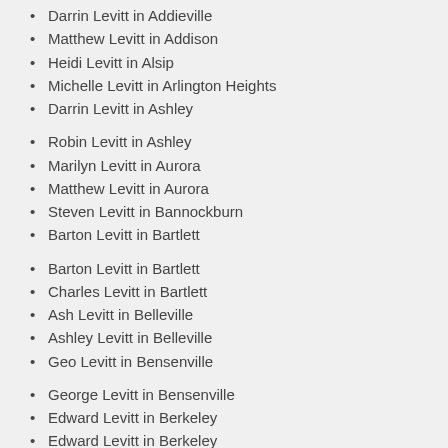Darrin Levitt in Addieville
Matthew Levitt in Addison
Heidi Levitt in Alsip
Michelle Levitt in Arlington Heights
Darrin Levitt in Ashley
Robin Levitt in Ashley
Marilyn Levitt in Aurora
Matthew Levitt in Aurora
Steven Levitt in Bannockburn
Barton Levitt in Bartlett
Barton Levitt in Bartlett
Charles Levitt in Bartlett
Ash Levitt in Belleville
Ashley Levitt in Belleville
Geo Levitt in Bensenville
George Levitt in Bensenville
Edward Levitt in Berkeley
Edward Levitt in Berkeley
Susan Levitt in Bloomingdale
Kristin Levitt in Bloomington